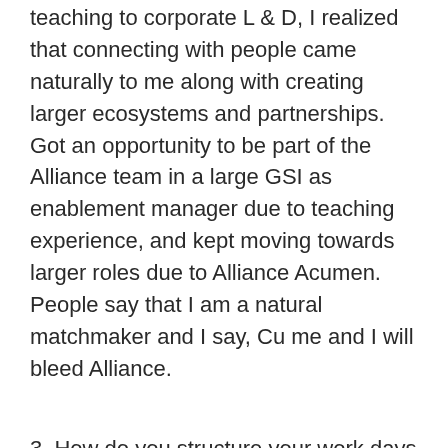teaching to corporate L & D, I realized that connecting with people came naturally to me along with creating larger ecosystems and partnerships. Got an opportunity to be part of the Alliance team in a large GSI as enablement manager due to teaching experience, and kept moving towards larger roles due to Alliance Acumen. People say that I am a natural matchmaker and I say, Cu me and I will bleed Alliance.
3. How do you structure your work days from waking up to going to sleep?